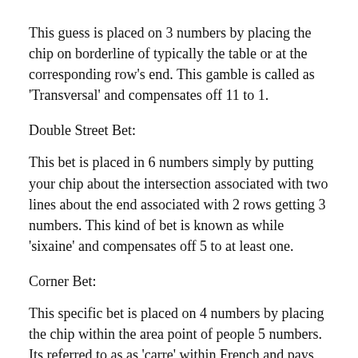This guess is placed on 3 numbers by placing the chip on borderline of typically the table or at the corresponding row's end. This gamble is called as 'Transversal' and compensates off 11 to 1.
Double Street Bet:
This bet is placed in 6 numbers simply by putting your chip about the intersection associated with two lines about the end associated with 2 rows getting 3 numbers. This kind of bet is known as while 'sixaine' and compensates off 5 to at least one.
Corner Bet:
This specific bet is placed on 4 numbers by placing the chip within the area point of people 5 numbers. Its referred to as as 'carre' within French and pays